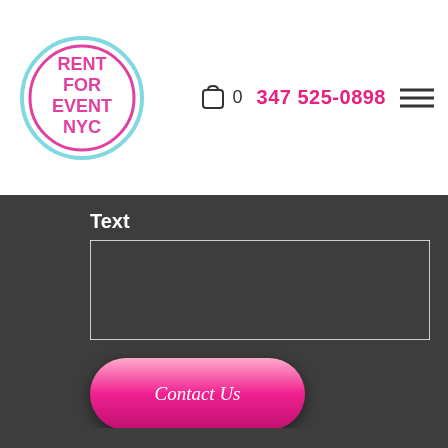[Figure (logo): Rent For Event NYC circular logo with pink text on white background with teal/pink border]
0
347 525-0898
[Figure (illustration): Hamburger menu icon with three horizontal lines]
Text
[Figure (screenshot): Empty text input box with white border on dark background]
Contact Us
[Figure (logo): Rent For Event NYC circular logo dark version]
RENTFOREVENTNYC
[Figure (illustration): Back to top arrow button]